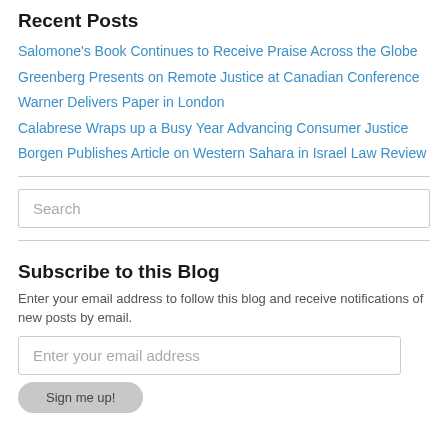Recent Posts
Salomone's Book Continues to Receive Praise Across the Globe
Greenberg Presents on Remote Justice at Canadian Conference
Warner Delivers Paper in London
Calabrese Wraps up a Busy Year Advancing Consumer Justice
Borgen Publishes Article on Western Sahara in Israel Law Review
Subscribe to this Blog
Enter your email address to follow this blog and receive notifications of new posts by email.